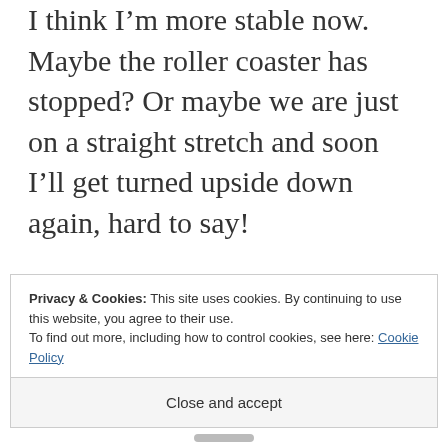I think I'm more stable now. Maybe the roller coaster has stopped? Or maybe we are just on a straight stretch and soon I'll get turned upside down again, hard to say!
I hope you'll keep reading and commenting. Are you going to write a blog yourself? I have found it extremely helpful in my trauma
Privacy & Cookies: This site uses cookies. By continuing to use this website, you agree to their use.
To find out more, including how to control cookies, see here: Cookie Policy
Close and accept